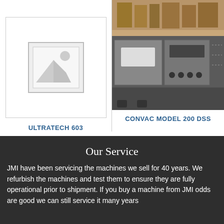[Figure (illustration): Placeholder image with mountain/landscape icon for ULTRATECH 603 product]
[Figure (photo): Photo of CONVAC MODEL 200 DSS industrial machine, metallic cabinet-like equipment]
ULTRATECH 603
CONVAC MODEL 200 DSS
Our Service
JMI have been servicing the machines we sell for 40 years. We refurbish the machines and test them to ensure they are fully operational prior to shipment. If you buy a machine from JMI odds are good we can still service it many years